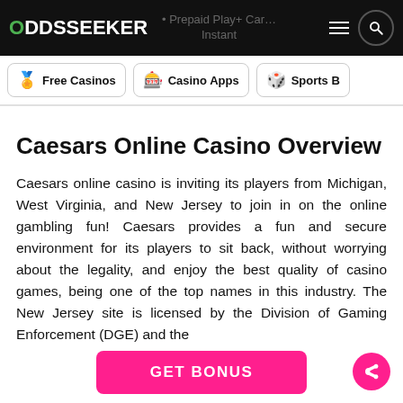ODDSSEEKER — Prepaid Play+ Car… Instant
[Figure (screenshot): Navigation bar with Free Casinos, Casino Apps, Sports B… pills]
Caesars Online Casino Overview
Caesars online casino is inviting its players from Michigan, West Virginia, and New Jersey to join in on the online gambling fun! Caesars provides a fun and secure environment for its players to sit back, without worrying about the legality, and enjoy the best quality of casino games, being one of the top names in this industry. The New Jersey site is licensed by the Division of Gaming Enforcement (DGE) and the
GET BONUS